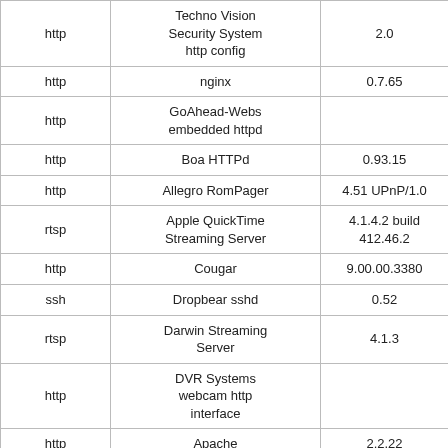| Protocol | Server | Version |
| --- | --- | --- |
| http | Techno Vision Security System http config | 2.0 |
| http | nginx | 0.7.65 |
| http | GoAhead-Webs embedded httpd |  |
| http | Boa HTTPd | 0.93.15 |
| http | Allegro RomPager | 4.51 UPnP/1.0 |
| rtsp | Apple QuickTime Streaming Server | 4.1.4.2 build 412.46.2 |
| http | Cougar | 9.00.00.3380 |
| ssh | Dropbear sshd | 0.52 |
| rtsp | Darwin Streaming Server | 4.1.3 |
| http | DVR Systems webcam http interface |  |
| http | Apache | 2.2.22 |
| http | uTorrent utserver web interface |  |
| http | httpd |  |